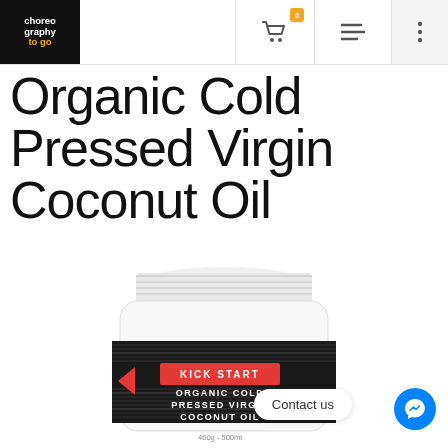choreography to go — navigation header with logo, cart (0), menu, and more options
Organic Cold Pressed Virgin Coconut Oil
[Figure (photo): A white jar of Kick Start Organic Cold Pressed Virgin Coconut Oil, 460g/500ml, with a black label featuring red highlight text. The jar has a ribbed white cap and the label reads: KICK START / ORGANIC COLD / PRESSED VIRGIN / COCONUT OIL / 460g - 500ml]
Contact us